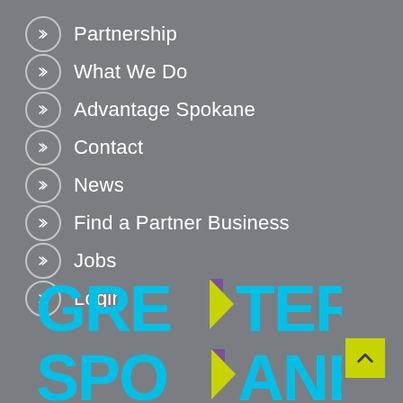Partnership
What We Do
Advantage Spokane
Contact
News
Find a Partner Business
Jobs
Login
[Figure (logo): Greater Spokane Inc logo in cyan/blue with purple and yellow arrow accents, large text reading GREATER SPOKANE]